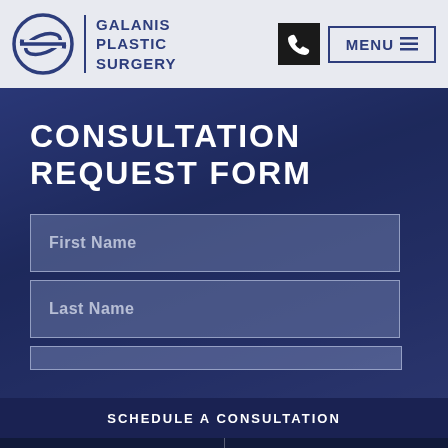[Figure (logo): Galanis Plastic Surgery logo with circular G emblem and text]
CONSULTATION REQUEST FORM
First Name
Last Name
SCHEDULE A CONSULTATION
LOCAL
OUT OF TOWN